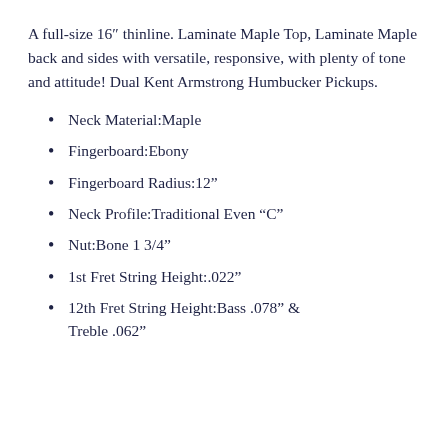A full-size 16″ thinline. Laminate Maple Top, Laminate Maple back and sides with versatile, responsive, with plenty of tone and attitude! Dual Kent Armstrong Humbucker Pickups.
Neck Material:Maple
Fingerboard:Ebony
Fingerboard Radius:12"
Neck Profile:Traditional Even "C"
Nut:Bone 1 3/4"
1st Fret String Height:.022"
12th Fret String Height:Bass .078" & Treble .062"